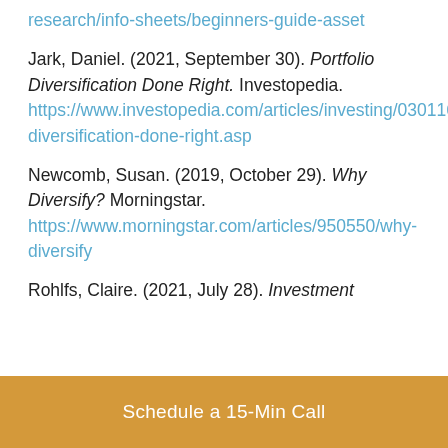research/info-sheets/beginners-guide-asset
Jark, Daniel. (2021, September 30). Portfolio Diversification Done Right. Investopedia. https://www.investopedia.com/articles/investing/030116/portfolio-diversification-done-right.asp
Newcomb, Susan. (2019, October 29). Why Diversify? Morningstar. https://www.morningstar.com/articles/950550/why-diversify
Rohlfs, Claire. (2021, July 28). Investment...
Schedule a 15-Min Call